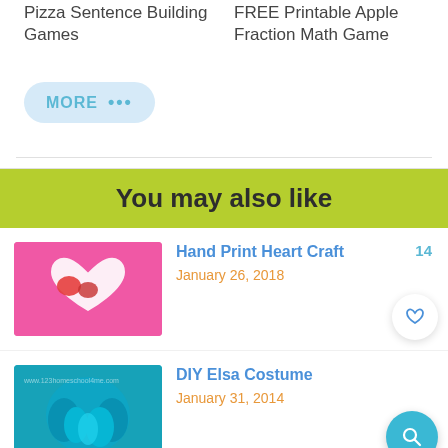Pizza Sentence Building Games
FREE Printable Apple Fraction Math Game
MORE ...
You may also like
Hand Print Heart Craft
January 26, 2018
DIY Elsa Costume
January 31, 2014
FREE Printable 2D Sorting Shapes Activity